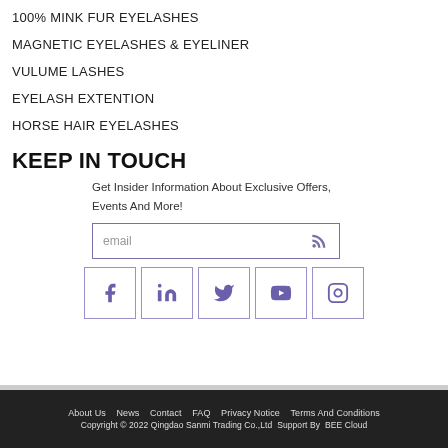100% MINK FUR EYELASHES
MAGNETIC EYELASHES & EYELINER
VULUME LASHES
EYELASH EXTENTION
HORSE HAIR EYELASHES
KEEP IN TOUCH
Get Insider Information About Exclusive Offers, Events And More!
[Figure (infographic): Email subscription input box with RSS icon button, and social media icons for Facebook, LinkedIn, Twitter, YouTube, and Instagram]
About Us   News   Contact   FAQ   Privacy Notice   Terms And Conditions
Copyright © 2022 Qingdao Sanmi Trading Co.,Ltd  Support By  BEE Cloud